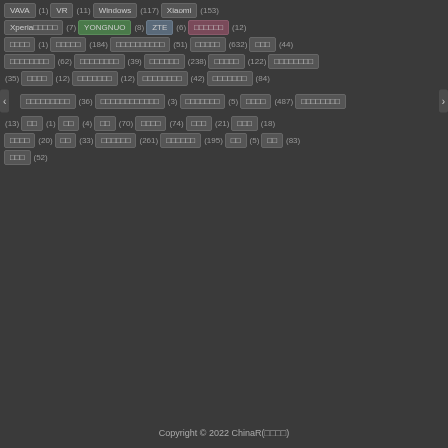VAVA (1) VR (11) Windows (117) Xiaomi (153)
Xperia□□□□□ (7) YONGNUO (8) ZTE (6) □□□□□□ (12)
□□□□ (1) □□□□□ (184) □□□□□□□□□□ (51) □□□□□ (632) □□□ (44)
□□□□□□□□ (62) □□□□□□□□ (39) □□□□□□ (238) □□□□□ (122) □□□□□□□□
(35) □□□□ (12) □□□□□□□ (12) □□□□□□□□ (42) □□□□□□□ (84)
□□□□□□□□□ (36) □□□□□□□□□□□□ (3) □□□□□□□ (5) □□□□ (487) □□□□□□□□
(13) □□ (1) □□ (4) □□ (70) □□□□ (74) □□□ (21) □□□ (18)
□□□□ (20) □□ (33) □□□□□□ (261) □□□□□□ (195) □□ (5) □□ (83)
□□□ (52)
Copyright © 2022 ChinaR(□□□□)